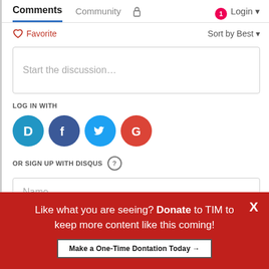Comments  Community  🔒  1  Login
♡ Favorite    Sort by Best ▾
Start the discussion…
LOG IN WITH
[Figure (infographic): Four social login icons: Disqus (D, blue circle), Facebook (f, dark blue circle), Twitter (bird, light blue circle), Google (G, red circle)]
OR SIGN UP WITH DISQUS ?
Name
Like what you are seeing? Donate to TIM to keep more content like this coming!
Make a One-Time Dontation Today →
X